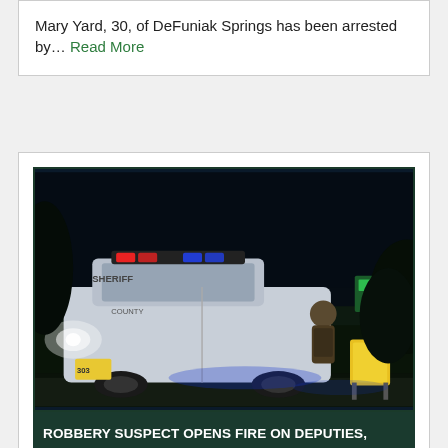Mary Yard, 30, of DeFuniak Springs has been arrested by… Read More
[Figure (photo): Night scene showing a sheriff deputy vehicle with lights on, an officer near the vehicle, and a yellow sign/equipment stand lit up on the right side of the road.]
ROBBERY SUSPECT OPENS FIRE ON DEPUTIES, ARRESTED FOLLOWING MULTI-COUNTY, MULTI-AGENCY PURSUIT